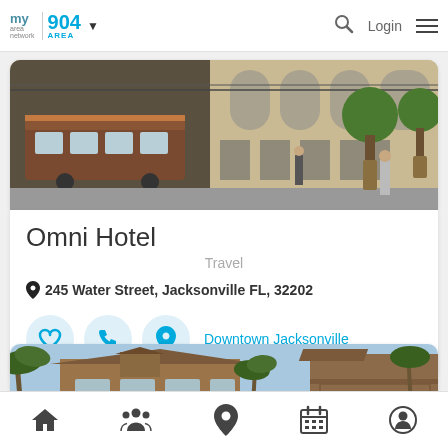[Figure (screenshot): MyArea Network 904 Area header navigation bar with logo, search icon, Login text, and hamburger menu]
[Figure (photo): Street scene with a cable car passing in front of a large stone building with arched windows and potted topiary trees]
Omni Hotel
Travel
245 Water Street, Jacksonville FL, 32202
Downtown Jacksonville
[Figure (photo): Partial view of a house with wooden siding and a balcony, palm trees in foreground]
[Figure (screenshot): Bottom navigation bar with home, people, location pin, calendar, and profile icons]